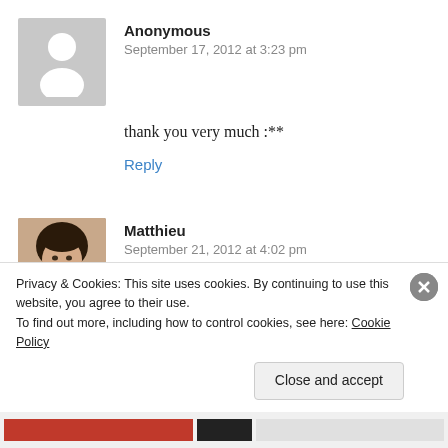Anonymous
September 17, 2012 at 3:23 pm
thank you very much :**
Reply
Matthieu
September 21, 2012 at 4:02 pm
im from ireland but bought my phone in australia. i have done this and when the
Privacy & Cookies: This site uses cookies. By continuing to use this website, you agree to their use.
To find out more, including how to control cookies, see here: Cookie Policy
Close and accept